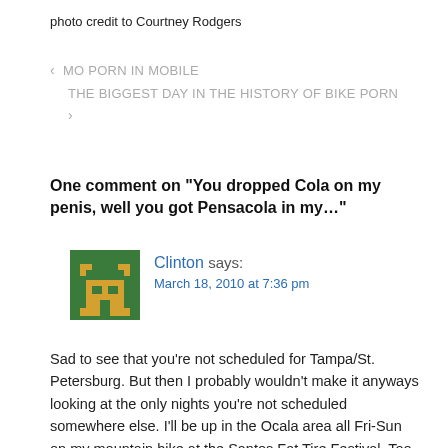photo credit to Courtney Rodgers
‹  MO PORN IN MOBILE
THE BIGGEST DAY IN THE HISTORY OF BIKE PORN  ›
One comment on “You dropped Cola on my penis, well you got Pensacola in my…”
Clinton says: March 18, 2010 at 7:36 pm
Sad to see that you’re not scheduled for Tampa/St. Petersburg. But then I probably wouldn’t make it anyways looking at the only nights you’re not scheduled somewhere else. I’ll be up in the Ocala area all Fri-Sun on my mountain bike at the Santos Fat Tire Festival. Too bad since the scene in St. Pete is pretty good. Oh well, I’ll be sure to put in some extra dirty miles.